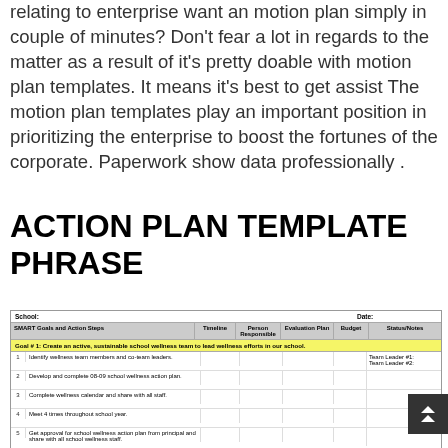relating to enterprise want an motion plan simply in couple of minutes? Don't fear a lot in regards to the matter as a result of it's pretty doable with motion plan templates. It means it's best to get assist The motion plan templates play an important position in prioritizing the enterprise to boost the fortunes of the corporate. Paperwork show data professionally .
ACTION PLAN TEMPLATE PHRASE
| SMART Goals and Action Steps | Timeline | Person Responsible | Evaluation Plan | Budget | Status/Notes |
| --- | --- | --- | --- | --- | --- |
| School: |  |  |  |  | Date: |
| Goal # 1: Create an active, sustainable school wellness team to lead wellness efforts in our school. |  |  |  |  |  |
| 1 | Identify wellness team members and co-team leaders. |  |  |  |  | Team Leader #1: Team Leader #2: |
| 2 | Develop and complete 08-09 school wellness action plan. |  |  |  |  |  |
| 3 | Complete wellness calendar and share with all staff. |  |  |  |  |  |
| 4 | Meet 4 times throughout school year. |  |  |  |  |  |
| 5 | Get approval for school wellness action plan from principal and share with all school wellness staff. |  |  |  |  |  |
| 6 |  |  |  |  |  |  |
| Goal # 2: Increase physical activity/PE for students. |  |  |  |  |  |
| 1 |  |  |  |  |  |  |
| 2 |  |  |  |  |  |  |
| 3 |  |  |  |  |  |  |
| 4 |  |  |  |  |  |  |